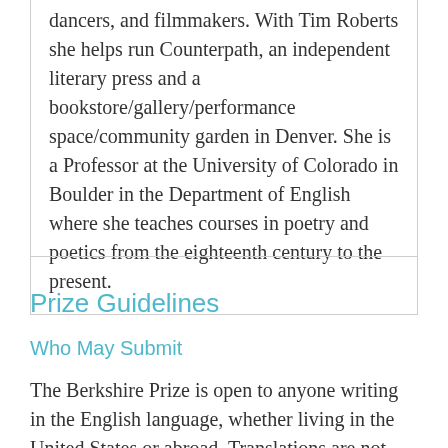dancers, and filmmakers. With Tim Roberts she helps run Counterpath, an independent literary press and a bookstore/gallery/performance space/community garden in Denver. She is a Professor at the University of Colorado in Boulder in the Department of English where she teaches courses in poetry and poetics from the eighteenth century to the present.
Prize Guidelines
Who May Submit
The Berkshire Prize is open to anyone writing in the English language, whether living in the United States or abroad. Translations are not eligible for